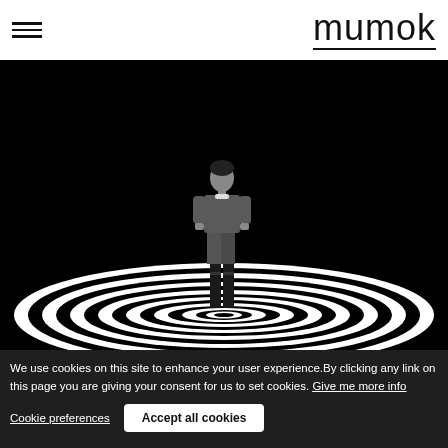mumok
[Figure (photo): Black and white photo of a person standing on a black and white concentric oval/spiral pattern floor against a black background. The person is dressed in dark clothing and looking downward.]
We use cookies on this site to enhance your user experience. By clicking any link on this page you are giving your consent for us to set cookies. Give me more info
Cookie preferences
Accept all cookies